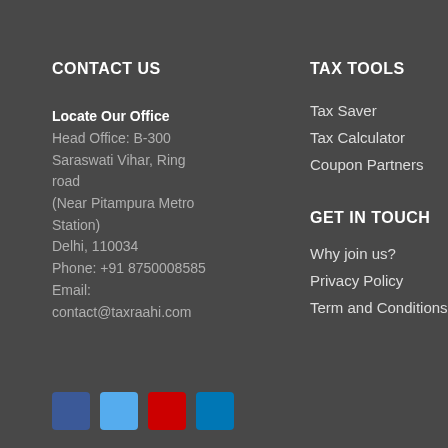CONTACT US
Locate Our Office
Head Office: B-300
Saraswati Vihar, Ring road
(Near Pitampura Metro Station)
Delhi, 110034
Phone: +91 8750008585
Email:
contact@taxraahi.com
TAX TOOLS
Tax Saver
Tax Calculator
Coupon Partners
GET IN TOUCH
Why join us?
Privacy Policy
Term and Conditions
[Figure (illustration): Four social media icon buttons: Facebook (dark blue), Twitter (light blue), YouTube (red), LinkedIn (blue)]